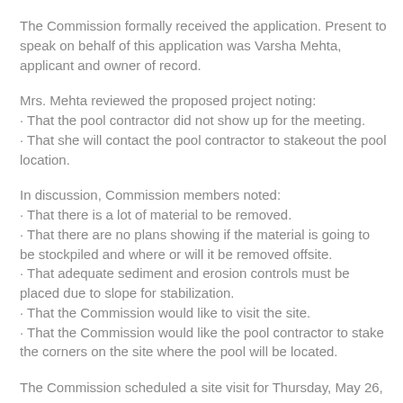The Commission formally received the application. Present to speak on behalf of this application was Varsha Mehta, applicant and owner of record.
Mrs. Mehta reviewed the proposed project noting:
· That the pool contractor did not show up for the meeting.
· That she will contact the pool contractor to stakeout the pool location.
In discussion, Commission members noted:
· That there is a lot of material to be removed.
· That there are no plans showing if the material is going to be stockpiled and where or will it be removed offsite.
· That adequate sediment and erosion controls must be placed due to slope for stabilization.
· That the Commission would like to visit the site.
· That the Commission would like the pool contractor to stake the corners on the site where the pool will be located.
The Commission scheduled a site visit for Thursday, May 26, 2011.